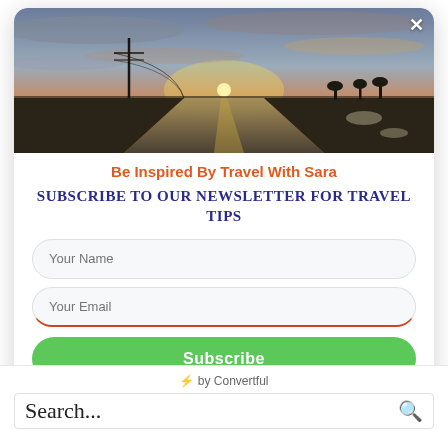[Figure (photo): A road stretching to the horizon at sunset with dramatic clouds, utility poles on the left, and sparse trees on the right.]
Be Inspired By Travel With Sara
Subscribe to our newsletter for travel tips
Your Name
Your Email
Subscribe
⚡ by Convertful
Search...